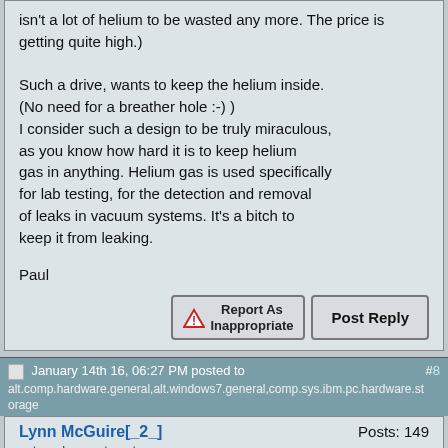isn't a lot of helium to be wasted any more. The price is getting quite high.)

Such a drive, wants to keep the helium inside.
(No need for a breather hole :-) )
I consider such a design to be truly miraculous, as you know how hard it is to keep helium gas in anything. Helium gas is used specifically for lab testing, for the detection and removal of leaks in vacuum systems. It's a bitch to keep it from leaking.
Paul
January 14th 16, 06:27 PM posted to alt.comp.hardware.general,alt.windows7.general,comp.sys.ibm.pc.hardware.storage #8
Lynn McGuire[_2_]   Posts: 149
external usenet poster
What wears out in an HDD?